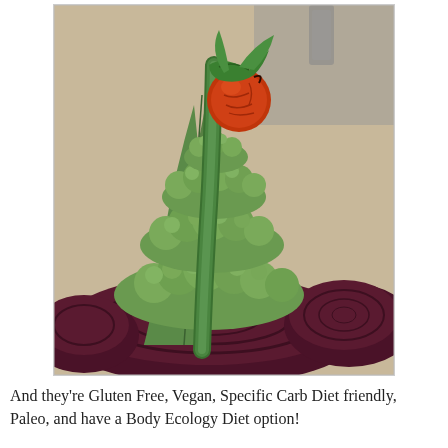[Figure (photo): A food photo showing a stack of green cauliflower florets garnished with green leaves and topped with a roasted cherry tomato, all sitting on top of dark roasted beet slices on a wooden surface.]
And they're Gluten Free, Vegan, Specific Carb Diet friendly, Paleo, and have a Body Ecology Diet option!